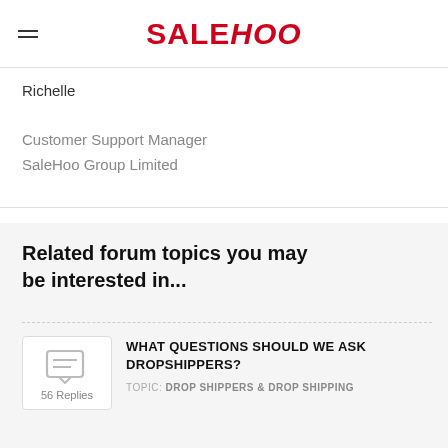SALEHOO
Richelle
Customer Support Manager
SaleHoo Group Limited
Related forum topics you may be interested in...
WHAT QUESTIONS SHOULD WE ASK DROPSHIPPERS?
TOPIC: DROP SHIPPERS & DROP SHIPPING
56 Replies